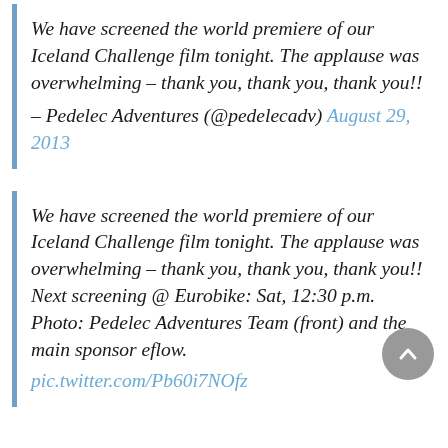We have screened the world premiere of our Iceland Challenge film tonight. The applause was overwhelming – thank you, thank you, thank you!!
– Pedelec Adventures (@pedelecadv) August 29, 2013
We have screened the world premiere of our Iceland Challenge film tonight. The applause was overwhelming – thank you, thank you, thank you!! Next screening @ Eurobike: Sat, 12:30 p.m. Photo: Pedelec Adventures Team (front) and the main sponsor eflow.
pic.twitter.com/Pb60i7NOfz